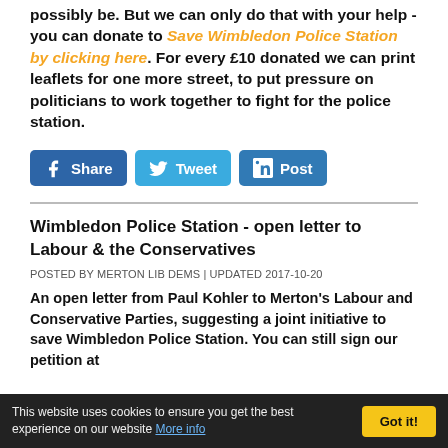possibly be. But we can only do that with your help - you can donate to Save Wimbledon Police Station by clicking here. For every £10 donated we can print leaflets for one more street, to put pressure on politicians to work together to fight for the police station.
[Figure (infographic): Social sharing buttons: Facebook Share, Twitter Tweet, LinkedIn Post]
Wimbledon Police Station - open letter to Labour & the Conservatives
POSTED BY MERTON LIB DEMS | UPDATED 2017-10-20
An open letter from Paul Kohler to Merton's Labour and Conservative Parties, suggesting a joint initiative to save Wimbledon Police Station. You can still sign our petition at
This website uses cookies to ensure you get the best experience on our website More info   Got it!